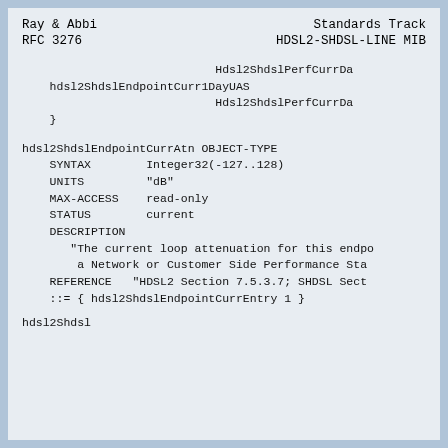Ray & Abbi                              Standards Track
RFC 3276                          HDSL2-SHDSL-LINE MIB
Hdsl2ShdslPerfCurrDa
    hdsl2ShdslEndpointCurr1DayUAS
                            Hdsl2ShdslPerfCurrDa
    }
hdsl2ShdslEndpointCurrAtn OBJECT-TYPE
    SYNTAX        Integer32(-127..128)
    UNITS         "dB"
    MAX-ACCESS    read-only
    STATUS        current
    DESCRIPTION
       "The current loop attenuation for this endpo
        a Network or Customer Side Performance Sta
    REFERENCE   "HDSL2 Section 7.5.3.7; SHDSL Sect
    ::= { hdsl2ShdslEndpointCurrEntry 1 }
hdsl2Shdsl...